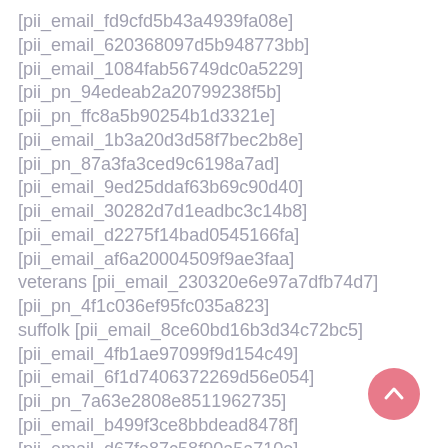[pii_email_fd9cfd5b43a4939fa08e]
[pii_email_620368097d5b948773bb]
[pii_email_1084fab56749dc0a5229]
[pii_pn_94edeab2a20799238f5b]
[pii_pn_ffc8a5b90254b1d3321e]
[pii_email_1b3a20d3d58f7bec2b8e]
[pii_pn_87a3fa3ced9c6198a7ad]
[pii_email_9ed25ddaf63b69c90d40]
[pii_email_30282d7d1eadbc3c14b8]
[pii_email_d2275f14bad0545166fa]
[pii_email_af6a20004509f9ae3faa]
veterans [pii_email_230320e6e97a7dfb74d7]
[pii_pn_4f1c036ef95fc035a823]
suffolk [pii_email_8ce60bd16b3d34c72bc5]
[pii_email_4fb1ae97099f9d154c49]
[pii_email_6f1d7406372269d56e054]
[pii_pn_7a63e2808e8511962735]
[pii_email_b499f3ce8bbdead8478f]
[pii_email_d67fe87c58f90a5a710e]